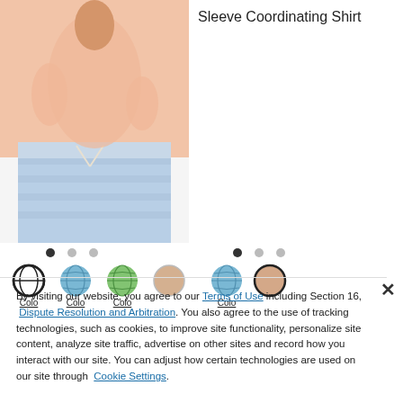[Figure (photo): Fashion product photo of a woman wearing a peach short-sleeve top and light blue drawstring pants/shorts]
Sleeve Coordinating Shirt
[Figure (other): Carousel navigation dots for left product image (3 dots, first active)]
[Figure (other): Carousel navigation dots for right product image (3 dots, first active)]
[Figure (other): Color swatches left: Colo, Colo, Colo, and a tan circle]
[Figure (other): Color swatches right: Colo with a peach/tan circle]
By visiting our website, you agree to our Terms of Use including Section 16, Dispute Resolution and Arbitration. You also agree to the use of tracking technologies, such as cookies, to improve site functionality, personalize site content, analyze site traffic, advertise on other sites and record how you interact with our site. You can adjust how certain technologies are used on our site through Cookie Settings.